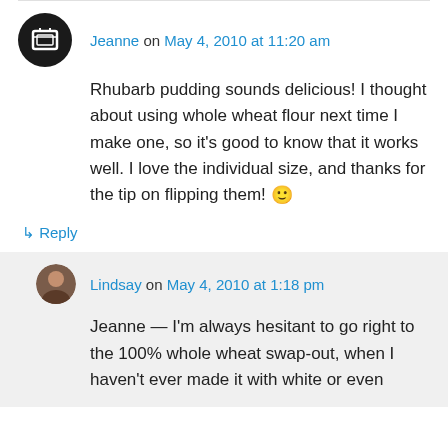Jeanne on May 4, 2010 at 11:20 am
Rhubarb pudding sounds delicious! I thought about using whole wheat flour next time I make one, so it's good to know that it works well. I love the individual size, and thanks for the tip on flipping them! 🙂
↳ Reply
Lindsay on May 4, 2010 at 1:18 pm
Jeanne — I'm always hesitant to go right to the 100% whole wheat swap-out, when I haven't ever made it with white or even